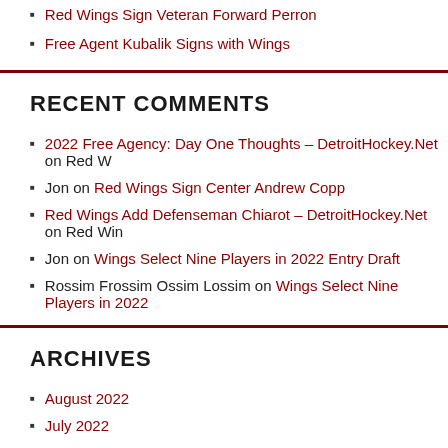Red Wings Sign Veteran Forward Perron
Free Agent Kubalik Signs with Wings
RECENT COMMENTS
2022 Free Agency: Day One Thoughts – DetroitHockey.Net on Red W…
Jon on Red Wings Sign Center Andrew Copp
Red Wings Add Defenseman Chiarot – DetroitHockey.Net on Red Win…
Jon on Wings Select Nine Players in 2022 Entry Draft
Rossim Frossim Ossim Lossim on Wings Select Nine Players in 2022
ARCHIVES
August 2022
July 2022
June 2022